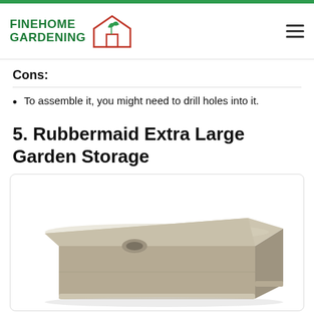FINEHOME GARDENING
Cons:
To assemble it, you might need to drill holes into it.
5. Rubbermaid Extra Large Garden Storage
[Figure (photo): A large taupe/tan plastic outdoor garden storage box (Rubbermaid brand) with a rounded lid, shown at an angle on a white background.]